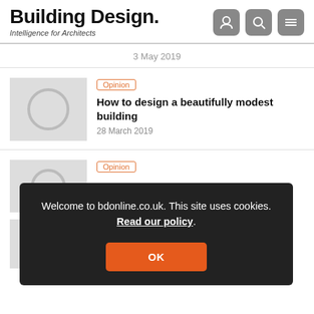Building Design. Intelligence for Architects
3 May 2019
[Figure (photo): Placeholder thumbnail image with circle icon]
Opinion
How to design a beautifully modest building
28 March 2019
[Figure (photo): Placeholder thumbnail image with circle icon]
Opinion
Welcome to bdonline.co.uk. This site uses cookies. Read our policy.
OK
[Figure (photo): Placeholder thumbnail image with circle icon]
Time for a new exhibition at the British Museum?